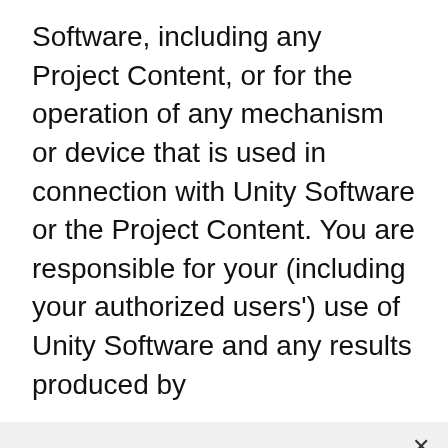Software, including any Project Content, or for the operation of any mechanism or device that is used in connection with Unity Software or the Project Content. You are responsible for your (including your authorized users') use of Unity Software and any results produced by
우리는 소셜 미디어 기능의 제공과 데이터 분석 및 본 사이트가 올바로 동작하고 개인화된 콘텐츠와 광고를 제공하기 위해 쿠키를 사용하고 있습니다. 회사 사이트에 대한 귀하의 사용 정보를 회사의 소셜 미디어, 광고 및 분석 협력사와 공유합니다.
쿠키 설정
모든 쿠키 허용